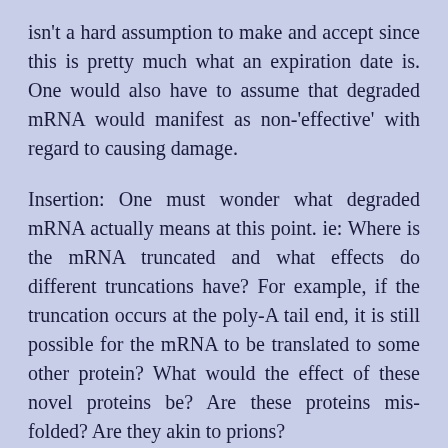isn't a hard assumption to make and accept since this is pretty much what an expiration date is. One would also have to assume that degraded mRNA would manifest as non-'effective' with regard to causing damage.
Insertion: One must wonder what degraded mRNA actually means at this point. ie: Where is the mRNA truncated and what effects do different truncations have? For example, if the truncation occurs at the poly-A tail end, it is still possible for the mRNA to be translated to some other protein? What would the effect of these novel proteins be? Are these proteins mis-folded? Are they akin to prions?
For those who don't know, mRNAs are book-ended between a 'cap' and a 'tail'. The cap, or 5' cap